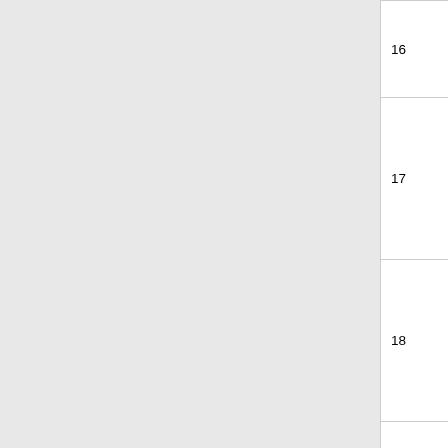| # | Title | Artist | ID |
| --- | --- | --- | --- |
| 16 | The Real Cat | His Orchestra | 6007532 |
| 17 | Toots Thielemans - Blues pour flirter | Toots Thielemans - Blues pour flirter | 6007532 |
| 18 | Buddy Banks / Bobby Jaspar - Jazz de chambre |  |  |
| 19 | Les Blue Stars - Pardon my English / Henri Salvador - Plays the Blues |  |  |
| 20 | Harold Nicholas / June Richmond / Andy Bey |  |  |
| 21 | Don Byas - Laura |  |  |
| 22 | Sidney Bechet |  |  |